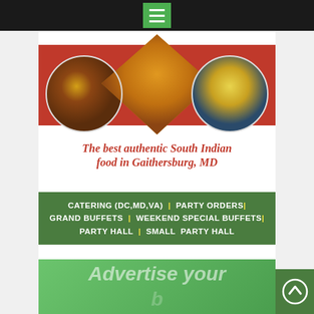[Figure (screenshot): Top navigation bar with hamburger menu icon on green button, black background]
[Figure (photo): Indian food advertisement showing three circular food images (curry dishes) on red background with heart/diamond shape in center]
The best authentic South Indian food in Gaithersburg, MD
CATERING (DC,MD,VA) | PARTY ORDERS | GRAND BUFFETS | WEEKEND SPECIAL BUFFETS | PARTY HALL | SMALL PARTY HALL
301-977-8600
info@kaveriusa.com   www.kaveriusa.com
9011 Gaither Rd, Gaithersburg, MD 20877
Advertise your